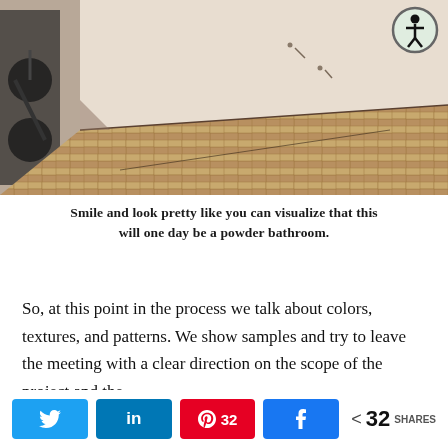[Figure (photo): Interior photo of an empty room under construction showing bare beige/white walls with nail holes and a herringbone-patterned wood floor being installed. A black object visible on the left edge. An accessibility icon (person in circle) overlaid in top-right corner.]
Smile and look pretty like you can visualize that this will one day be a powder bathroom.
So, at this point in the process we talk about colors, textures, and patterns. We show samples and try to leave the meeting with a clear direction on the scope of the project and the
Twitter | LinkedIn | Pinterest 32 | Facebook | < 32 SHARES